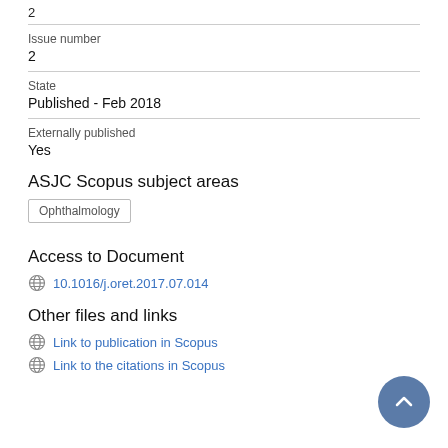2
Issue number
2
State
Published - Feb 2018
Externally published
Yes
ASJC Scopus subject areas
Ophthalmology
Access to Document
10.1016/j.oret.2017.07.014
Other files and links
Link to publication in Scopus
Link to the citations in Scopus